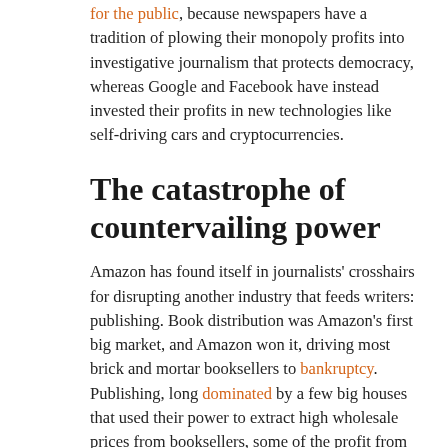for the public, because newspapers have a tradition of plowing their monopoly profits into investigative journalism that protects democracy, whereas Google and Facebook have instead invested their profits in new technologies like self-driving cars and cryptocurrencies.
The catastrophe of countervailing power
Amazon has found itself in journalists' crosshairs for disrupting another industry that feeds writers: publishing. Book distribution was Amazon's first big market, and Amazon won it, driving most brick and mortar booksellers to bankruptcy. Publishing, long dominated by a few big houses that used their power to extract high wholesale prices from booksellers, some of the profit from which they passed on to authors as royalties, now faced a distribution industry that was even more concentrated and powerful than was publishing. The Department of Justice stamped out a desperate attempt by publishers to cartelize in response, and profits, and author royalties, have continued to fall.
Journalists, of course, are writers, and the disruption of publishing, taken together with the disruption of news, have left